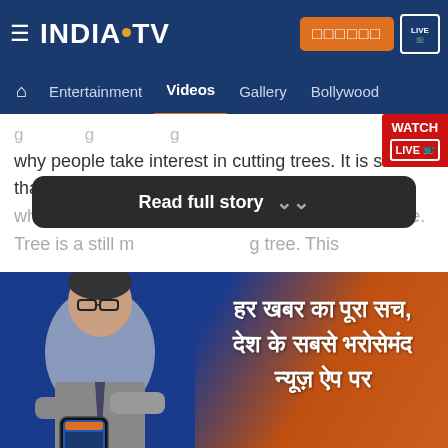India TV — Navigation: Home, Entertainment, Videos, Gallery, Bollywood
why people take interest in cutting trees. It is said that when a man stops growing, you should plant a tree. Tree is a still m... g tree. This
Read full story
[Figure (screenshot): India TV app advertisement banner with a news anchor, mobile phone, and Hindi text: हर खबर का पूरा सच, देश के सबसे भरोसेमंद न्यूज़ ऐप पर, with India TV logo at bottom]